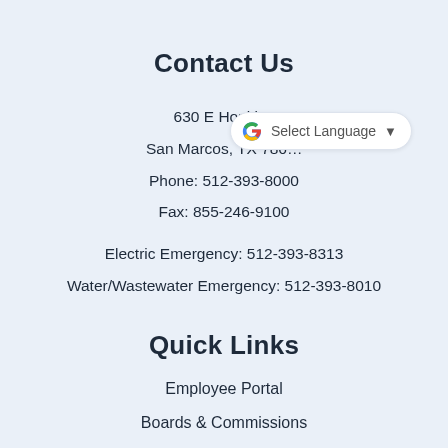Contact Us
630 E Hopkins
San Marcos, TX 786...
Phone: 512-393-8000
Fax: 855-246-9100
Electric Emergency: 512-393-8313
Water/Wastewater Emergency: 512-393-8010
Quick Links
Employee Portal
Boards & Commissions
City Council
Council Message Board